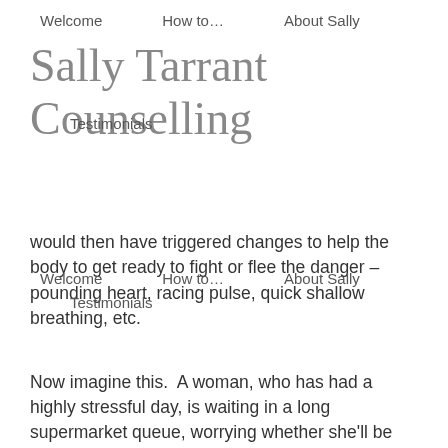Sally Tarrant Counselling — Welcome | How to… | About Sally | Testimonials
would then have triggered changes to help the body to get ready to fight or flee the danger – pounding heart, racing pulse, quick shallow breathing, etc.
Now imagine this.  A woman, who has had a highly stressful day, is waiting in a long supermarket queue, worrying whether she'll be out of the shop on time to catch the bus to collect her little girl form school.  It is one pressure too many.  The amygdala responds as she I under threat and she starts to feel her heart pounding strangely and her